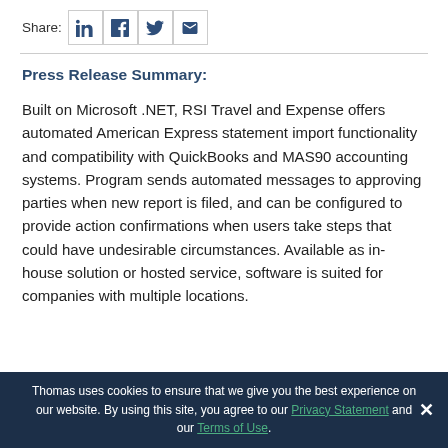Share: [LinkedIn] [Facebook] [Twitter] [Email]
Press Release Summary:
Built on Microsoft .NET, RSI Travel and Expense offers automated American Express statement import functionality and compatibility with QuickBooks and MAS90 accounting systems. Program sends automated messages to approving parties when new report is filed, and can be configured to provide action confirmations when users take steps that could have undesirable circumstances. Available as in-house solution or hosted service, software is suited for companies with multiple locations.
Thomas uses cookies to ensure that we give you the best experience on our website. By using this site, you agree to our Privacy Statement and our Terms of Use.